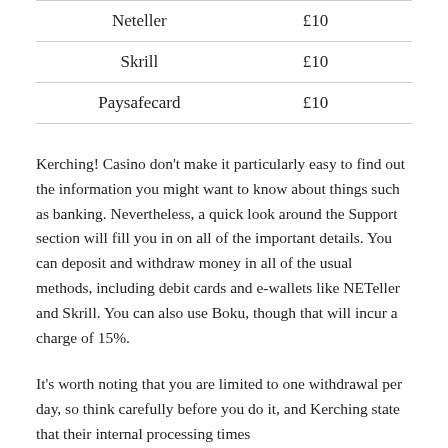| Neteller | £10 |
| Skrill | £10 |
| Paysafecard | £10 |
Kerching! Casino don't make it particularly easy to find out the information you might want to know about things such as banking. Nevertheless, a quick look around the Support section will fill you in on all of the important details. You can deposit and withdraw money in all of the usual methods, including debit cards and e-wallets like NETeller and Skrill. You can also use Boku, though that will incur a charge of 15%.
It's worth noting that you are limited to one withdrawal per day, so think carefully before you do it, and Kerching state that their internal processing times